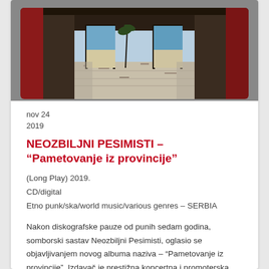[Figure (photo): Interior view of an abandoned or ruined building with deteriorated floors, open doorways leading to a brighter outdoor area with what appears to be a beach or coastal scene in the background. Red curtains or pillars flank the sides.]
nov 24
2019
NEOZBILJNI PESIMISTI – “Pametovanje iz provincije”
(Long Play) 2019.
CD/digital
Etno punk/ska/world music/various genres – SERBIA
Nakon diskografske pauze od punih sedam godina, somborski sastav Neozbiljni Pesimisti, oglasio se objavljivanjem novog albuma naziva – “Pametovanje iz provincije”. Izdavač je prestižna koncertna i promoterska